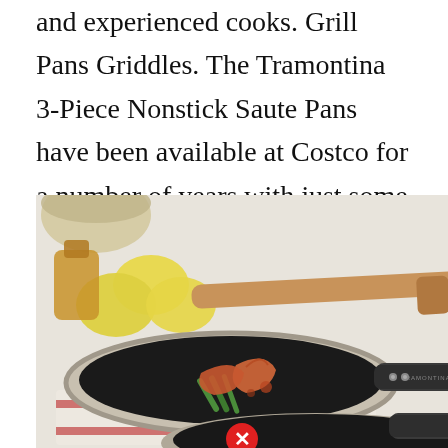and experienced cooks. Grill Pans Griddles. The Tramontina 3-Piece Nonstick Saute Pans have been available at Costco for a number of years with just some minor changes.
[Figure (photo): Product photo of Tramontina nonstick saute pans with shrimp and green vegetables in the foreground pan, lemons and a wooden spatula in the background, on a white surface with a striped kitchen towel. A red X badge appears at the bottom center of the image.]